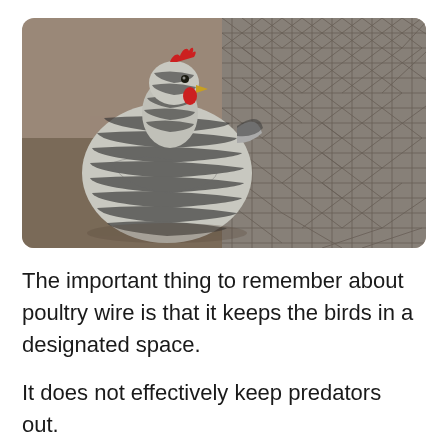[Figure (photo): A black and white barred (Plymouth Rock) chicken standing in front of a hexagonal poultry wire/chicken wire fence. The background shows dirt/gravel ground. The chicken has a red comb.]
The important thing to remember about poultry wire is that it keeps the birds in a designated space.
It does not effectively keep predators out.
If you simply want to contain your flock within